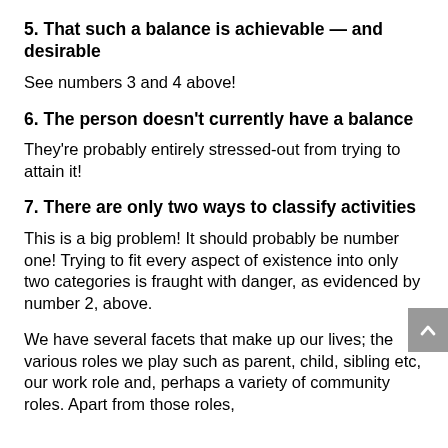5. That such a balance is achievable — and desirable
See numbers 3 and 4 above!
6. The person doesn't currently have a balance
They're probably entirely stressed-out from trying to attain it!
7. There are only two ways to classify activities
This is a big problem! It should probably be number one! Trying to fit every aspect of existence into only two categories is fraught with danger, as evidenced by number 2, above.
We have several facets that make up our lives; the various roles we play such as parent, child, sibling etc, our work role and, perhaps a variety of community roles. Apart from those roles,